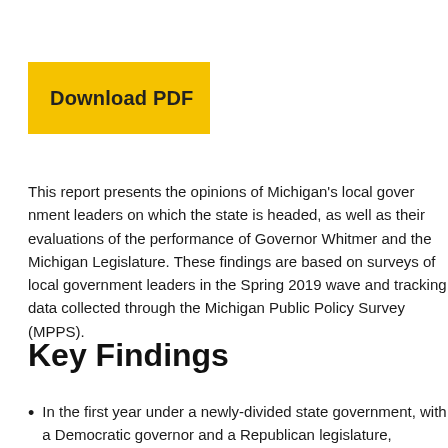[Figure (other): Yellow 'Download PDF' button]
This report presents the opinions of Michigan's local government leaders on which the state is headed, as well as their evaluations of the performance of Governor Whitmer and the Michigan Legislature. These findings are based on surveys of local government leaders in the Spring 2019 wave and tracking data collected through the Michigan Public Policy Survey (MPPS).
Key Findings
In the first year under a newly-divided state government, with a Democratic governor and Republican legislature, Michigan's local government leaders…